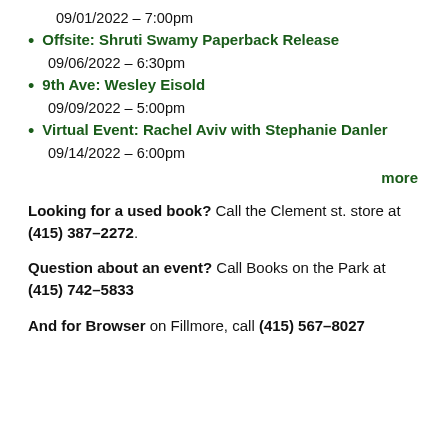09/01/2022 – 7:00pm
Offsite: Shruti Swamy Paperback Release
09/06/2022 – 6:30pm
9th Ave: Wesley Eisold
09/09/2022 – 5:00pm
Virtual Event: Rachel Aviv with Stephanie Danler
09/14/2022 – 6:00pm
more
Looking for a used book? Call the Clement st. store at (415) 387–2272.
Question about an event? Call Books on the Park at (415) 742–5833
And for Browser on Fillmore, call (415) 567–8027